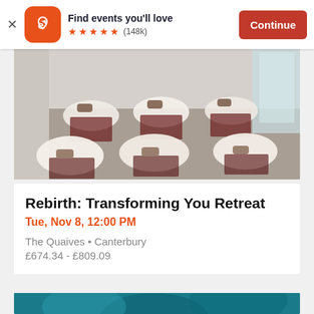Find events you'll love ★★★★★ (148k) Continue
[Figure (photo): Room with yoga mats, sheepskin rugs, and bolsters arranged in rows on a wooden floor]
Rebirth: Transforming You Retreat
Tue, Nov 8, 12:00 PM
The Quaives • Canterbury
£674.34 - £809.09
[Figure (photo): Partial view of a second event image with teal/blue tones]